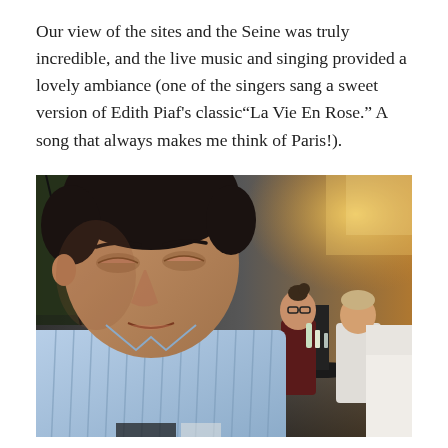Our view of the sites and the Seine was truly incredible, and the live music and singing provided a lovely ambiance (one of the singers sang a sweet version of Edith Piaf's classic“La Vie En Rose.” A song that always makes me think of Paris!).
[Figure (photo): A young man in a blue striped shirt looking down, seated at a restaurant. In the background, a woman with glasses and a man in a white shirt are seated at a bar table. The setting appears to be a restaurant with warm golden light coming through windows.]